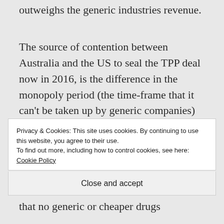outweighs the generic industries revenue.
The source of contention between Australia and the US to seal the TPP deal now in 2016, is the difference in the monopoly period (the time-frame that it can't be taken up by generic companies) for medicines or biologics between the two countries. Biologics are “next generation” drugs and
Privacy & Cookies: This site uses cookies. By continuing to use this website, you agree to their use.
To find out more, including how to control cookies, see here: Cookie Policy
Close and accept
that no generic or cheaper drugs